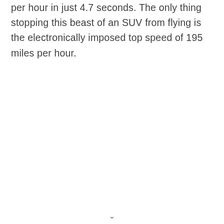per hour in just 4.7 seconds. The only thing stopping this beast of an SUV from flying is the electronically imposed top speed of 195 miles per hour.